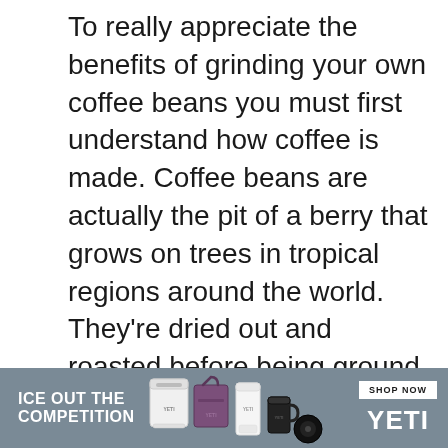To really appreciate the benefits of grinding your own coffee beans you must first understand how coffee is made. Coffee beans are actually the pit of a berry that grows on trees in tropical regions around the world. They're dried out and roasted before being ground into powder for brewing purposes.

Once you take control of your coffee's journey from bean to brew, you will enjoy far more nuanced flavors than what you were used to (especially if you usually opt for pre-ground coffee), plus
[Figure (other): Advertisement banner for YETI brand coolers and accessories. Gray background with text 'ICE OUT THE COMPETITION' on the left, product images in the center (white cooler, purple tote bag, white cup/tumbler, black smaller item), and 'SHOP NOW' button with 'YETI' logo on the right.]